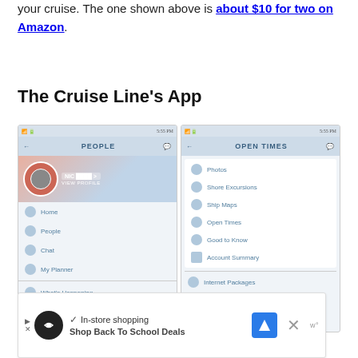your cruise. The one shown above is about $10 for two on Amazon.
The Cruise Line's App
[Figure (screenshot): Two side-by-side screenshots of a cruise line mobile app. Left screen shows 'PEOPLE' menu with profile, Home, People, Chat, My Planner, What's Happening. Right screen shows 'OPEN TIMES' menu with Photos, Shore Excursions, Ship Maps, Open Times, Good to Know, Account Summary, Internet Packages.]
[Figure (screenshot): Advertisement banner at the bottom showing a shopping app with 'In-store shopping' text and 'Shop Back To School Deals'.]